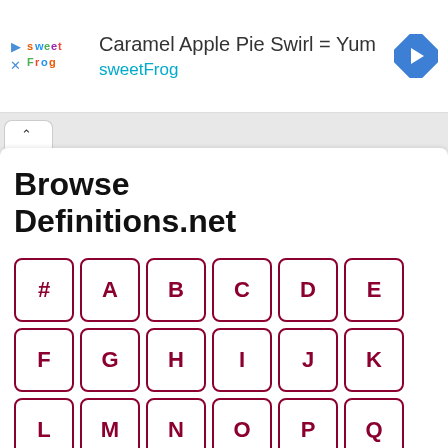[Figure (logo): sweetFrog logo with colorful letters]
Caramel Apple Pie Swirl = Yum
sweetFrog
Browse Definitions.net
[Figure (other): Alphabet letter navigation buttons: #, A, B, C, D, E, F, G, H, I, J, K, L, M, N, O, P, Q]